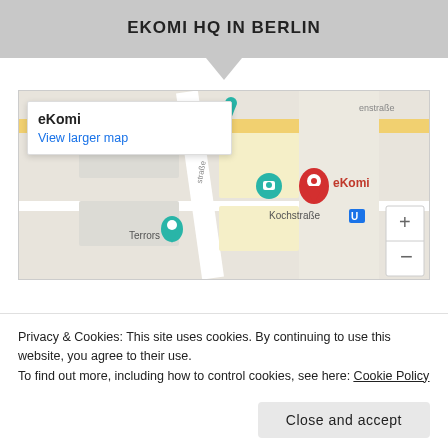EKOMI HQ IN BERLIN
[Figure (map): Google Map showing eKomi location near Kochstraße U-Bahn station in Berlin, with red map pin labeled eKomi, teal camera and location icons for nearby places including Terrors, and zoom controls]
Privacy & Cookies: This site uses cookies. By continuing to use this website, you agree to their use.
To find out more, including how to control cookies, see here: Cookie Policy
Close and accept